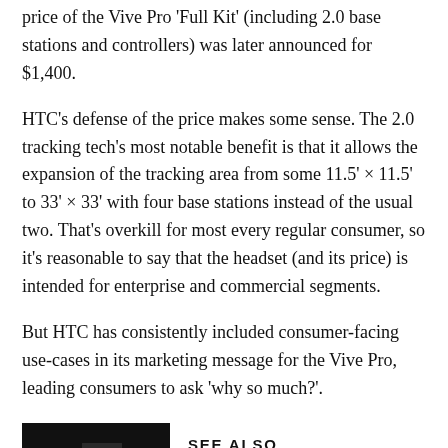price of the Vive Pro 'Full Kit' (including 2.0 base stations and controllers) was later announced for $1,400.
HTC's defense of the price makes some sense. The 2.0 tracking tech's most notable benefit is that it allows the expansion of the tracking area from some 11.5' × 11.5' to 33' × 33' with four base stations instead of the usual two. That's overkill for most every regular consumer, so it's reasonable to say that the headset (and its price) is intended for enterprise and commercial segments.
But HTC has consistently included consumer-facing use-cases in its marketing message for the Vive Pro, leading consumers to ask 'why so much?'.
SEE ALSO